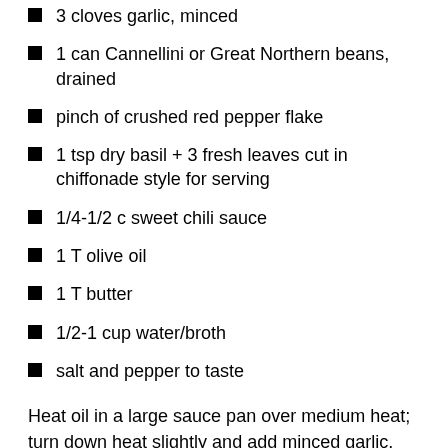3 cloves garlic, minced
1 can Cannellini or Great Northern beans, drained
pinch of crushed red pepper flake
1 tsp dry basil + 3 fresh leaves cut in chiffonade style for serving
1/4-1/2 c sweet chili sauce
1 T olive oil
1 T butter
1/2-1 cup water/broth
salt and pepper to taste
Heat oil in a large sauce pan over medium heat; turn down heat slightly and add minced garlic, cooking until fragrant, about 30 seconds to 1 minute. Add in tomatoes, red pepper flake and dry basil; cook until tomatoes are heated through, 5-8 minutes, adding water to reach desired consistency. If you like a smooth soup base, use an